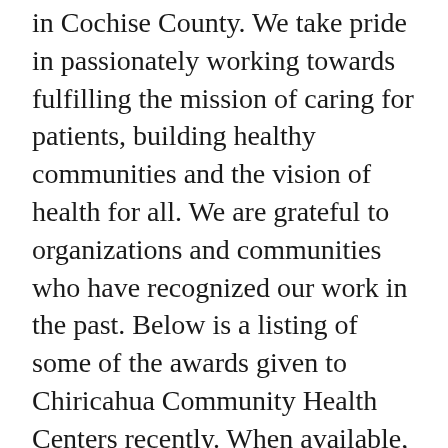in Cochise County. We take pride in passionately working towards fulfilling the mission of caring for patients, building healthy communities and the vision of health for all. We are grateful to organizations and communities who have recognized our work in the past. Below is a listing of some of the awards given to Chiricahua Community Health Centers recently. When available, there is a link for more information.
2017 - Douglas Dispatch Best of Douglas Contest names Chiricahua Community Health Centers, Inc. "Best Healthcare in Douglas" Learn More